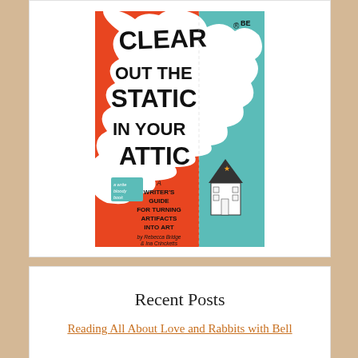[Figure (illustration): Book cover of 'Clear Out the Static in Your Attic: A Writer's Guide for Turning Artifacts into Art' by Rebecca Bridge and Ina Crincketts, a Write Bloody Book. Cover features bold black hand-lettered title text over a white cloud shape, with red and teal/mint color blocking, and a small illustrated house with a figure in the window.]
Recent Posts
Reading All About Love and Rabbits with Bell